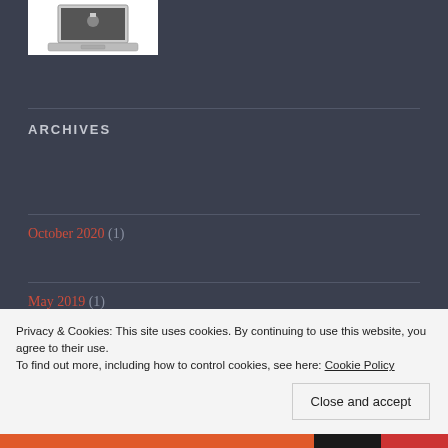[Figure (photo): Partial view of a laptop (Apple MacBook) on a white background, cropped at the top of the page]
ARCHIVES
October 2020 (1)
May 2019 (1)
June 2018 (2)
Privacy & Cookies: This site uses cookies. By continuing to use this website, you agree to their use.
To find out more, including how to control cookies, see here: Cookie Policy
Close and accept